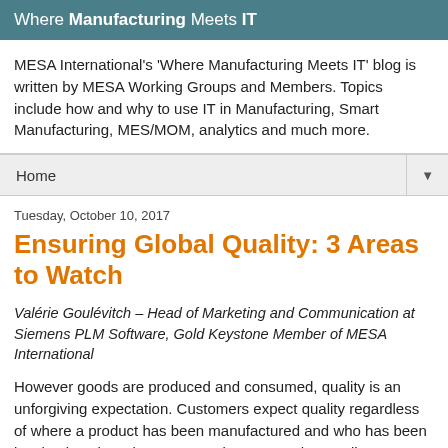Where Manufacturing Meets IT
MESA International's 'Where Manufacturing Meets IT' blog is written by MESA Working Groups and Members. Topics include how and why to use IT in Manufacturing, Smart Manufacturing, MES/MOM, analytics and much more.
Home
Tuesday, October 10, 2017
Ensuring Global Quality: 3 Areas to Watch
Valérie Goulévitch – Head of Marketing and Communication at Siemens PLM Software, Gold Keystone Member of MESA International
However goods are produced and consumed, quality is an unforgiving expectation. Customers expect quality regardless of where a product has been manufactured and who has been involved, so brand owners need to ensure that quality